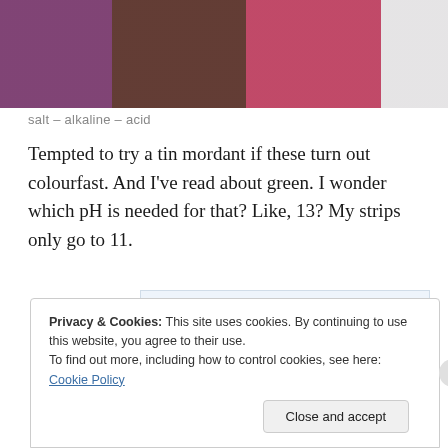[Figure (photo): Three skeins of yarn — purple/violet, dark brown, and rose/red — laid out side by side on a white surface.]
salt – alkaline – acid
Tempted to try a tin mordant if these turn out colourfast. And I've read about green. I wonder which pH is needed for that? Like, 13? My strips only go to 11.
[Figure (screenshot): Advertisement: 'Build a writing habit. Post on the go.' with a 'GET THE APP' call to action and WordPress logo.]
Privacy & Cookies: This site uses cookies. By continuing to use this website, you agree to their use.
To find out more, including how to control cookies, see here: Cookie Policy